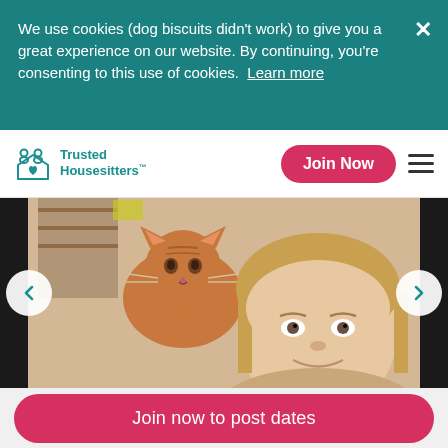We use cookies (dog biscuits didn't work) to give you a great experience on our website. By continuing, you're consenting to this use of cookies.  Learn more
[Figure (screenshot): Trusted Housesitters website navigation bar with logo, Join Now button, and hamburger menu]
[Figure (photo): Selfie photo of a man with long blond hair and an orange tabby cat sitting on his shoulders, with a bookshelf in the background]
Join now to post dates